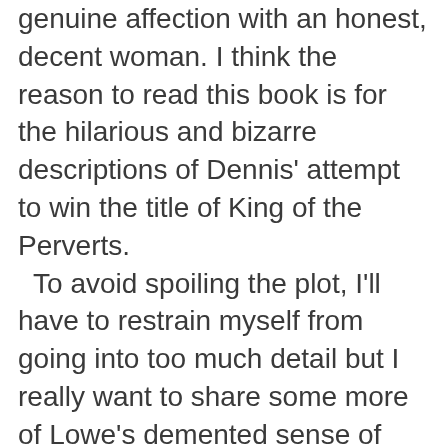genuine affection with an honest, decent woman. I think the reason to read this book is for the hilarious and bizarre descriptions of Dennis' attempt to win the title of King of the Perverts.
  To avoid spoiling the plot, I'll have to restrain myself from going into too much detail but I really want to share some more of Lowe's demented sense of humor.  He also has an excellent ear for dialogue and a style that is very appealing in its simplicity.  His clean and fluid style enabled me to read the squickiest of details without feeling overwhelmed by the sexually... interesting parts.

And there were many sexually interesting (and gross and hilarious) parts, a couple of which I swore had to be the result of Lowe's fevered imagination.  Alas, a Google proved me wrong